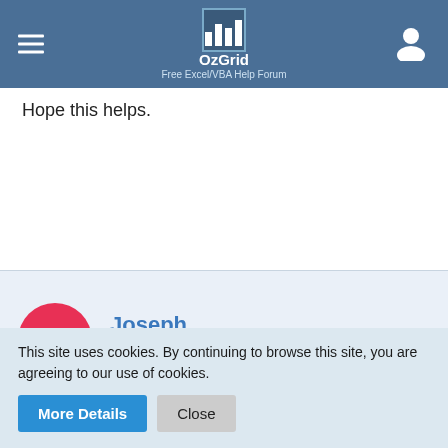OzGrid - Free Excel/VBA Help Forum
Hope this helps.
Joseph
Beginner
Apr 3rd 2003
Looks like that will work. Thanks!
This site uses cookies. By continuing to browse this site, you are agreeing to our use of cookies.